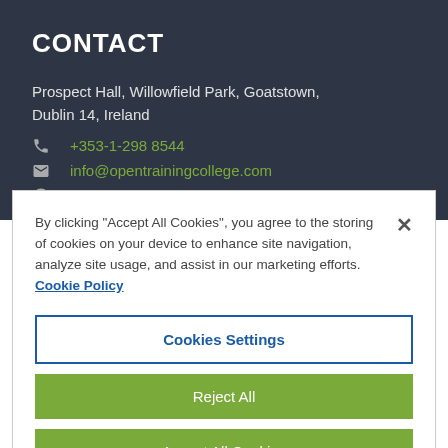CONTACT
Prospect Hall, Willowfield Park, Goatstown, Dublin 14, Ireland
+353-1-298 8544
info@opentrainingcollege.com
By clicking “Accept All Cookies”, you agree to the storing of cookies on your device to enhance site navigation, analyze site usage, and assist in our marketing efforts.
Cookie Policy
Cookies Settings
Reject All
Accept All Cookies